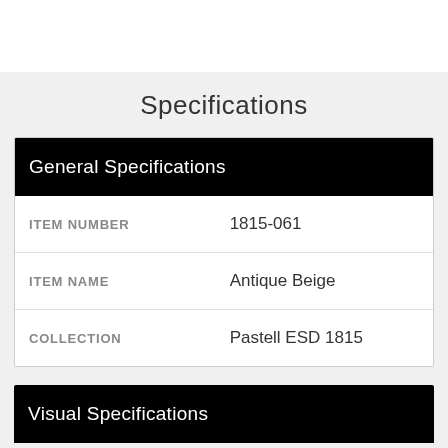Specifications
| General Specifications |  |
| --- | --- |
| ITEM NUMBER | 1815-061 |
| ITEM NAME | Antique Beige |
| COLLECTION | Pastell ESD 1815 |
Visual Specifications